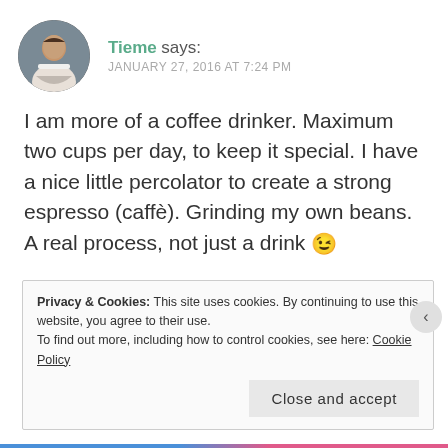[Figure (photo): Circular avatar photo of a man in a white t-shirt]
Tieme says:
JANUARY 27, 2016 AT 7:24 PM
I am more of a coffee drinker. Maximum two cups per day, to keep it special. I have a nice little percolator to create a strong espresso (caffè). Grinding my own beans. A real process, not just a drink 😉
Privacy & Cookies: This site uses cookies. By continuing to use this website, you agree to their use.
To find out more, including how to control cookies, see here: Cookie Policy
Close and accept